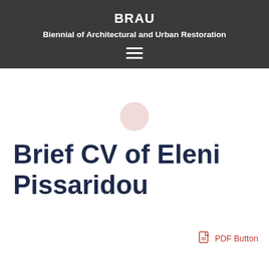BRAU
Biennial of Architectural and Urban Restoration
[Figure (other): Hamburger menu icon (three horizontal white lines) in dark header bar]
[Figure (other): Small pink/rose decorative circle above the main title]
Brief CV of Eleni Pissaridou
PDF Button